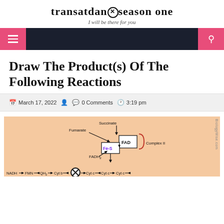transatdan✖season one — I will be there for you
[Figure (infographic): Navigation bar with hamburger menu icon on left (pink background) and search icon on right (pink background) on dark navy background]
Draw The Product(s) Of The Following Reactions
March 17, 2022   0 Comments   3:19 pm
[Figure (engineering-diagram): Biochemistry diagram of electron transport chain showing Complex II with Fe-S, FAD, FADH2, Fumarate, Succinate labels, and bottom row showing NADH, FMN, QH2, Cyt b, Cyt c, Cyt c, Cyt c, (partially visible). BioloGyWise.com watermark on right side.]